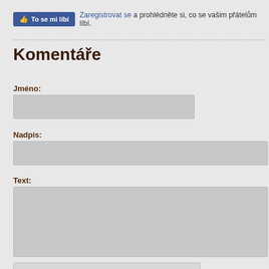[Figure (screenshot): Facebook Like button widget with thumbs up icon and blue background labeled 'To se mi líbí']
Zaregistrovat se a prohlédněte si, co se vašim přátelům líbí.
Komentáře
Jméno:
[Figure (screenshot): Empty text input field for Jméno (Name)]
Nadpis:
[Figure (screenshot): Empty text input field for Nadpis (Title)]
Text:
[Figure (screenshot): Empty textarea for Text (comment body)]
[Figure (screenshot): reCAPTCHA widget box with fish icon partially visible]